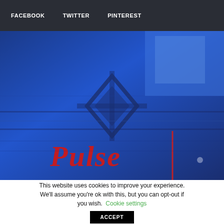FACEBOOK   TWITTER   PINTEREST
[Figure (photo): Blue-toned photo of what appears to be a venue or event space with geometric patterns and the red cursive 'Pulse' logo text visible in the lower portion of the image.]
This website uses cookies to improve your experience. We'll assume you're ok with this, but you can opt-out if you wish. Cookie settings  ACCEPT